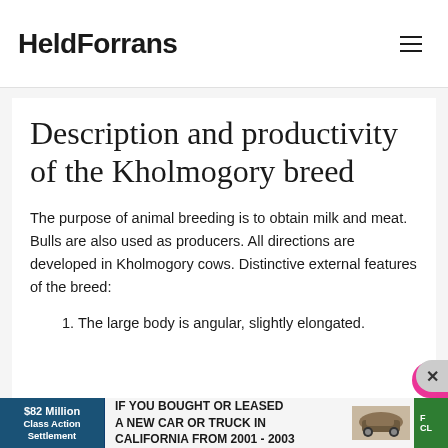HeldForrans
Description and productivity of the Kholmogory breed
The purpose of animal breeding is to obtain milk and meat. Bulls are also used as producers. All directions are developed in Kholmogory cows. Distinctive external features of the breed:
The large body is angular, slightly elongated.
[Figure (infographic): Advertisement banner: $82 Million Class Action Settlement - IF YOU BOUGHT OR LEASED A NEW CAR OR TRUCK IN CALIFORNIA FROM 2001 - 2003]